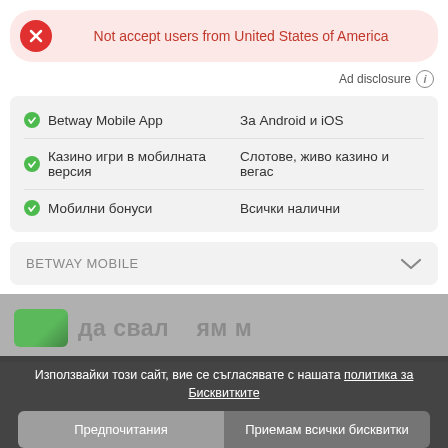Not accept users from United States of America
Ad disclosure ℹ
|  |  |
| --- | --- |
| ✓ Betway Mobile App | За Android и iOS |
| ✓ Казино игри в мобилната версия | Слотове, живо казино и вегас |
| ✓ Мобилни бонуси | Всички налични |
BETWAY MOBILE
Последно променено от Efirbet : преди 2 месеца
[Figure (screenshot): Partially visible background image showing a green card and blurred text about downloading an Android app]
Използвайки този сайт, вие се съгласявате с нашата политика за Бисквитките
Предпочитания
Приемам всички бисквитки